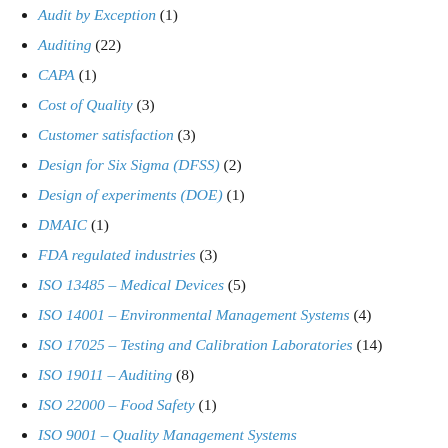Audit by Exception (1)
Auditing (22)
CAPA (1)
Cost of Quality (3)
Customer satisfaction (3)
Design for Six Sigma (DFSS) (2)
Design of experiments (DOE) (1)
DMAIC (1)
FDA regulated industries (3)
ISO 13485 – Medical Devices (5)
ISO 14001 – Environmental Management Systems (4)
ISO 17025 – Testing and Calibration Laboratories (14)
ISO 19011 – Auditing (8)
ISO 22000 – Food Safety (1)
ISO 9001 – Quality Management Systems